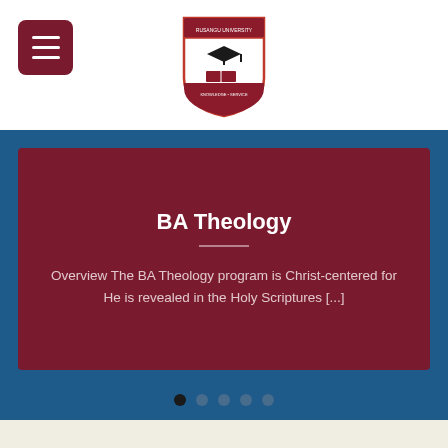[Figure (logo): Rusangu University shield/crest logo centered in white header bar]
[Figure (screenshot): Website slider card with dark red background showing BA Theology title, divider line, and overview text. Five navigation dots below on blue background.]
TIME TO GROW
At Rusangu University, we prepare you to launch